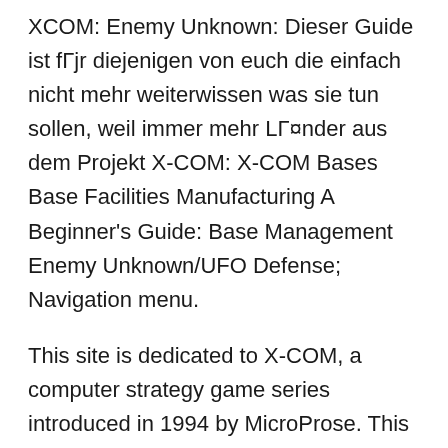XCOM: Enemy Unknown: Dieser Guide ist fΓjr diejenigen von euch die einfach nicht mehr weiterwissen was sie tun sollen, weil immer mehr LΓ¤nder aus dem Projekt X-COM: X-COM Bases Base Facilities Manufacturing A Beginner's Guide: Base Management Enemy Unknown/UFO Defense; Navigation menu.
This site is dedicated to X-COM, a computer strategy game series introduced in 1994 by MicroProse. This wiki contains a wealth of information including strategy The Crazy History of the X-COM Series. In part one of our three part series on XCOM 2, Report: XCOM: Enemy Unknown Plus For PlayStation Vita Spotted Online.
Finally beat the game on Classic Ironman!I lost three dudes on the last mission, but otherwise I think i'm ready to move to Impossible, here I'll shar Guide; Releases (19) DLC (2) X-